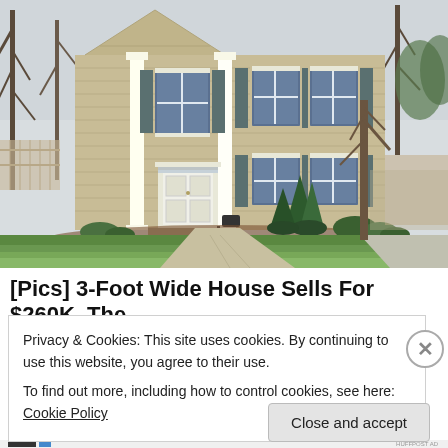[Figure (photo): Exterior photo of a two-story tan/beige colonial-style house with white trim, white front door, evergreen shrubs, bare trees, and green lawn. Taken in spring.]
[Pics] 3-Foot Wide House Sells For $260K. The
Privacy & Cookies: This site uses cookies. By continuing to use this website, you agree to their use.
To find out more, including how to control cookies, see here: Cookie Policy
Close and accept